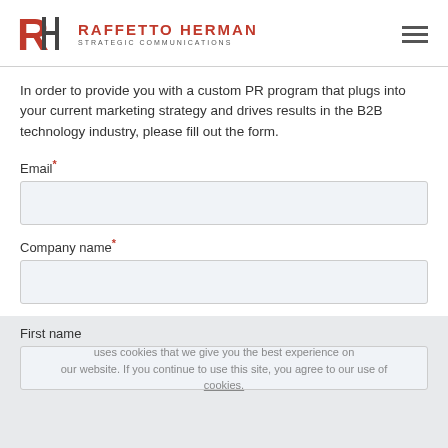RAFFETTO HERMAN STRATEGIC COMMUNICATIONS
In order to provide you with a custom PR program that plugs into your current marketing strategy and drives results in the B2B technology industry, please fill out the form.
Email*
Company name*
First name
Last name